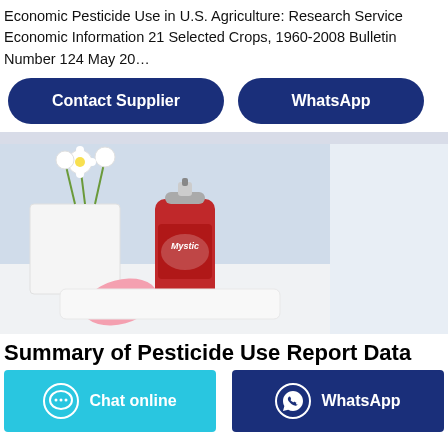Economic Pesticide Use in U.S. Agriculture: Research Service Economic Information 21 Selected Crops, 1960-2008 Bulletin Number 124 May 20…
Contact Supplier
WhatsApp
[Figure (photo): Product photo showing a red aerosol spray can labeled 'Mystic' on a white surface with a pink cap and white flowers in a vase, against a light blue background.]
Summary of Pesticide Use Report Data
Chat online
WhatsApp